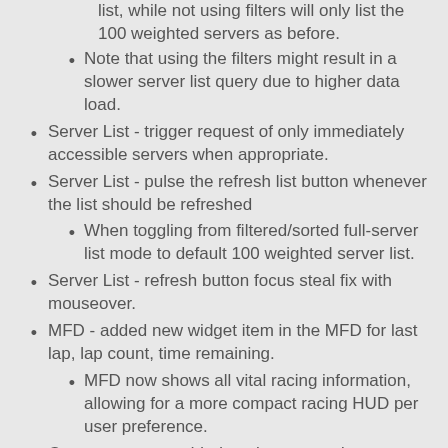list, while not using filters will only list the 100 weighted servers as before.
Note that using the filters might result in a slower server list query due to higher data load.
Server List - trigger request of only immediately accessible servers when appropriate.
Server List - pulse the refresh list button whenever the list should be refreshed
When toggling from filtered/sorted full-server list mode to default 100 weighted server list.
Server List - refresh button focus steal fix with mouseover.
MFD - added new widget item in the MFD for last lap, lap count, time remaining.
MFD now shows all vital racing information, allowing for a more compact racing HUD per user preference.
Garage screen - added track name and season on the garage screen under server name inside the server.